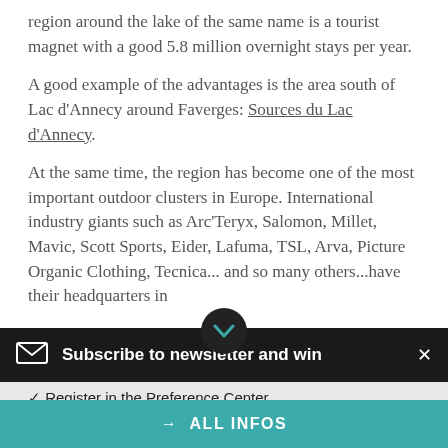region around the lake of the same name is a tourist magnet with a good 5.8 million overnight stays per year.
A good example of the advantages is the area south of Lac d'Annecy around Faverges: Sources du Lac d'Annecy.
At the same time, the region has become one of the most important outdoor clusters in Europe. International industry giants such as Arc'Teryx, Salomon, Millet, Mavic, Scott Sports, Eider, Lafuma, TSL, Arva, Picture Organic Clothing, Tecnica... and so many others...have their headquarters in
Subscribe to newsletter and win
✓ Register in the Preference Center
✓ Win VIP Tickets for Bits & Pretzels 2022
✓ Get Insights from the Sports Business World
→ ALL INFOS